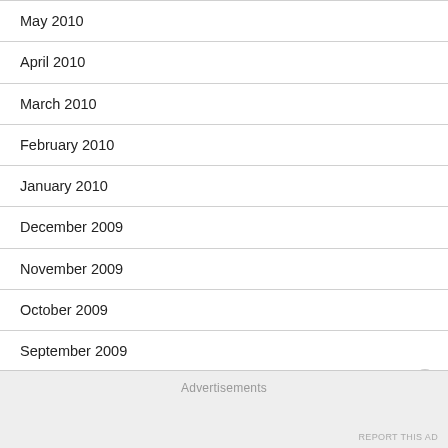May 2010
April 2010
March 2010
February 2010
January 2010
December 2009
November 2009
October 2009
September 2009
August 2009
July 2009
June 2009
Advertisements
REPORT THIS AD